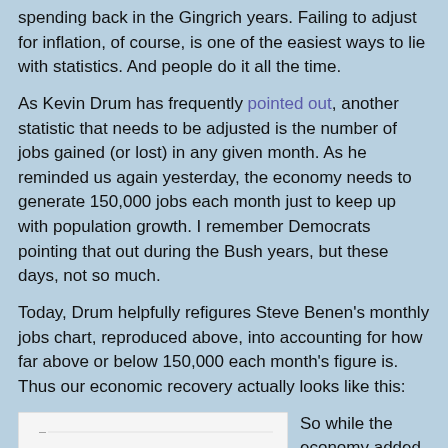spending back in the Gingrich years. Failing to adjust for inflation, of course, is one of the easiest ways to lie with statistics. And people do it all the time.
As Kevin Drum has frequently pointed out, another statistic that needs to be adjusted is the number of jobs gained (or lost) in any given month. As he reminded us again yesterday, the economy needs to generate 150,000 jobs each month just to keep up with population growth. I remember Democrats pointing that out during the Bush years, but these days, not so much.
Today, Drum helpfully refigures Steve Benen's monthly jobs chart, reproduced above, into accounting for how far above or below 150,000 each month's figure is. Thus our economic recovery actually looks like this:
[Figure (bar-chart): Bar chart showing monthly jobs gains/losses relative to 150,000 baseline. Red bars (negative) on the left side representing losses, blue bars (positive) on the right representing gains. Values vary from large negative to moderate positive.]
So while the economy added 54,000 jobs, that's actually